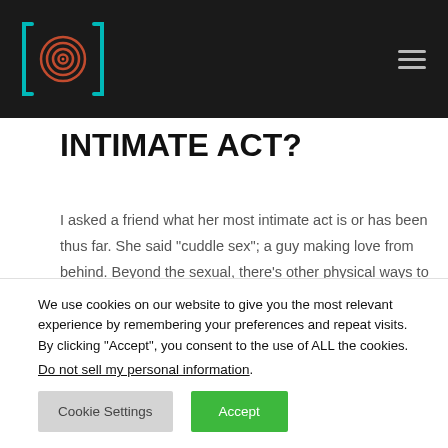INTIMATE ACT?
I asked a friend what her most intimate act is or has been thus far. She said “cuddle sex”; a guy making love from behind. Beyond the sexual, there’s other physical ways to build intimacy: hand-holding, resting on each other’s shoulders and whispering to one
We use cookies on our website to give you the most relevant experience by remembering your preferences and repeat visits. By clicking “Accept”, you consent to the use of ALL the cookies.
Do not sell my personal information.